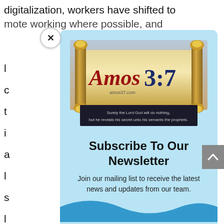digitalization, workers have shifted to remote working where possible, and
[Figure (logo): Amos 3:7 website banner logo showing a Torah scroll with the text 'Amos3:7' and tagline 'Surely the Lord God will do nothing, but he reveals his secret unto his servants the prophets.' and 'amos37.com']
Subscribe To Our Newsletter
Join our mailing list to receive the latest news and updates from our team.